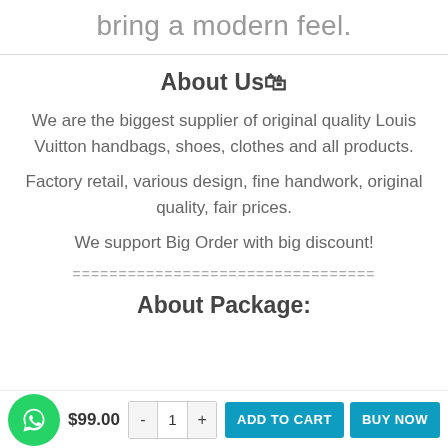bring a modern feel.
About Us🛍
We are the biggest supplier of original quality Louis Vuitton handbags, shoes, clothes and all products.
Factory retail, various design, fine handwork, original quality, fair prices.
We support Big Order with big discount!
=================================
About Package:
$99.00
ADD TO CART
BUY NOW